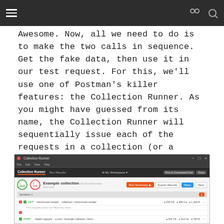[navigation bar with hamburger menu and icons]
Awesome. Now, all we need to do is to make the two calls in sequence. Get the fake data, then use it in our test request. For this, we'll use one of Postman's killer features: the Collection Runner. As you might have guessed from its name, the Collection Runner will sequentially issue each of the requests in a collection (or a folder within a collection) and execute their tests.
[Figure (screenshot): Screenshot of Postman's Collection Runner window showing 'Example collection' with Run Summary, Export Results, Retry, and New buttons. Shows an iteration with two requests: a GET request with 200 OK status and no tests, and another request with 200 OK/pass status and a PASS result for 'User is over 18'.]